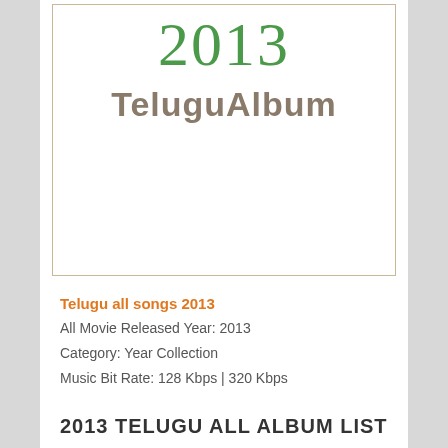[Figure (illustration): Album cover image showing '2013' in green handwritten-style font and 'TeluguAlbum' in brown/tan bold text on white background with beige border]
Telugu all songs 2013
All Movie Released Year: 2013
Category: Year Collection
Music Bit Rate: 128 Kbps | 320 Kbps
2013 TELUGU ALL ALBUM LIST